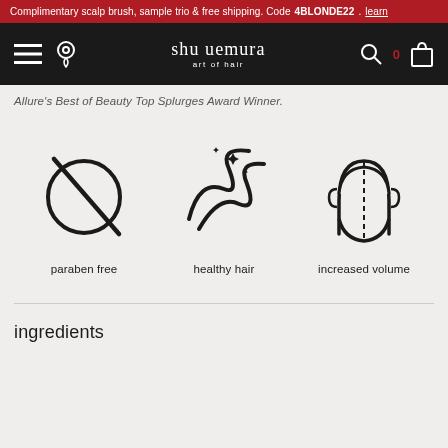Complimentary scalp brush, sample trio & free shipping. Code 4BLONDE22. learn
[Figure (screenshot): Shu Uemura Art of Hair navigation bar with hamburger menu, location pin, brand logo, search icon, cart icon]
Allure's Best of Beauty Top Splurges Award Winner.
[Figure (infographic): Three product benefit icons: paraben free (circle with slash), healthy hair (flowing hair with sparkles), increased volume (head silhouette with dashed center line)]
ingredients